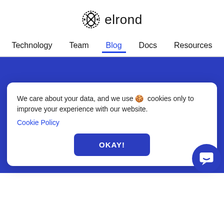[Figure (logo): Elrond logo: circular dotted icon with X pattern followed by text 'elrond']
Technology   Team   Blog   Docs   Resources
Technology
Massive scalability
Speed & security
We care about your data, and we use 🍪 cookies only to improve your experience with our website. Cookie Policy
OKAY!